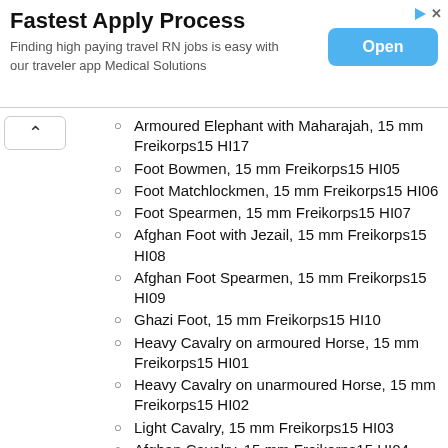[Figure (other): Advertisement banner: 'Fastest Apply Process' - Finding high paying travel RN jobs is easy with our traveler app Medical Solutions. Open button shown.]
Armoured Elephant with Maharajah, 15 mm Freikorps15 HI17
Foot Bowmen, 15 mm Freikorps15 HI05
Foot Matchlockmen, 15 mm Freikorps15 HI06
Foot Spearmen, 15 mm Freikorps15 HI07
Afghan Foot with Jezail, 15 mm Freikorps15 HI08
Afghan Foot Spearmen, 15 mm Freikorps15 HI09
Ghazi Foot, 15 mm Freikorps15 HI10
Heavy Cavalry on armoured Horse, 15 mm Freikorps15 HI01
Heavy Cavalry on unarmoured Horse, 15 mm Freikorps15 HI02
Light Cavalry, 15 mm Freikorps15 HI03
Afghan Cavalry, 15 mm Freikorps15 HI04
Camel Mounted Rocket Men, 15 mm Freikorps15